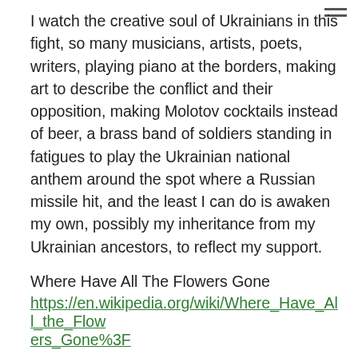I watch the creative soul of Ukrainians in this fight, so many musicians, artists, poets, writers, playing piano at the borders, making art to describe the conflict and their opposition, making Molotov cocktails instead of beer, a brass band of soldiers standing in fatigues to play the Ukrainian national anthem around the spot where a Russian missile hit, and the least I can do is awaken my own, possibly my inheritance from my Ukrainian ancestors, to reflect my support.
Where Have All The Flowers Gone
https://en.wikipedia.org/wiki/Where_Have_All_the_Flowers_Gone%3F
. . . . . . .
Follow me on Instagram